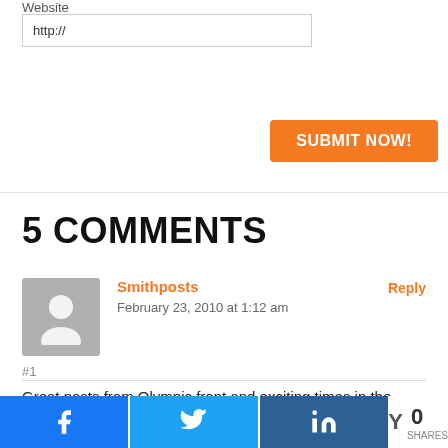Website
http://
SUBMIT NOW!
5 COMMENTS
Smithposts
February 23, 2010 at 1:12 am
Reply
#1
Great posts from Olympic front and exciting times in the world of winter sports!
Christi
Reply